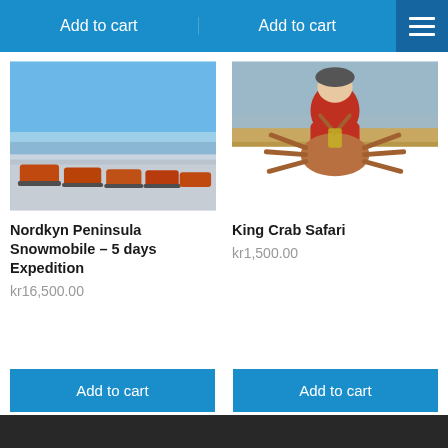Add to cart | Add to cart
[Figure (photo): Orange snowmobiles lined up on a snowy shoreline with blue sky and water in background - Nordkyn Peninsula]
Nordkyn Peninsula Snowmobile – 5 days Expedition
kr16,500.00
[Figure (photo): Man in red jacket holding a large King Crab on what appears to be a boat deck with water and mountains in background]
King Crab Safari
kr1,500.00